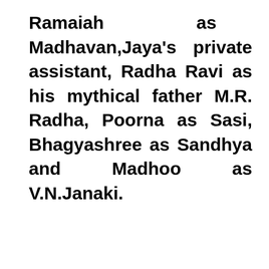Ramaiah as Madhavan,Jaya's private assistant, Radha Ravi as his mythical father M.R. Radha, Poorna as Sasi, Bhagyashree as Sandhya and Madhoo as V.N.Janaki.